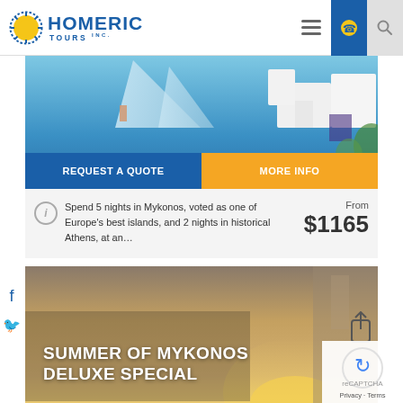[Figure (logo): Homeric Tours Inc. logo with sun emblem]
[Figure (photo): Mykonos island photo with blue sea and white buildings, with REQUEST A QUOTE and MORE INFO buttons]
Spend 5 nights in Mykonos, voted as one of Europe's best islands, and 2 nights in historical Athens, at an…
From $1165
[Figure (photo): Summer of Mykonos Deluxe Special - golden sunset landscape with building silhouette]
SUMMER OF MYKONOS DELUXE SPECIAL
Privacy - Terms